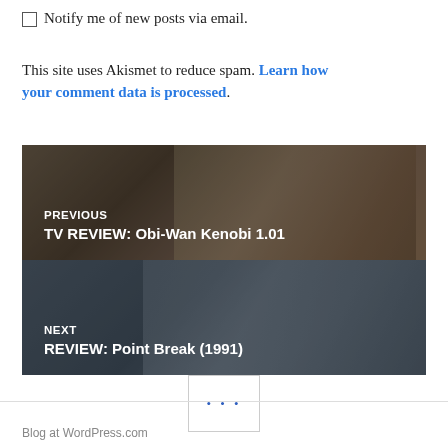☐ Notify me of new posts via email.
This site uses Akismet to reduce spam. Learn how your comment data is processed.
[Figure (photo): Navigation block PREVIOUS: TV REVIEW: Obi-Wan Kenobi 1.01 — background photo of a robed figure in a desert/ancient setting]
[Figure (photo): Navigation block NEXT: REVIEW: Point Break (1991) — background photo of a man aiming a gun in an urban setting]
• • •
Blog at WordPress.com